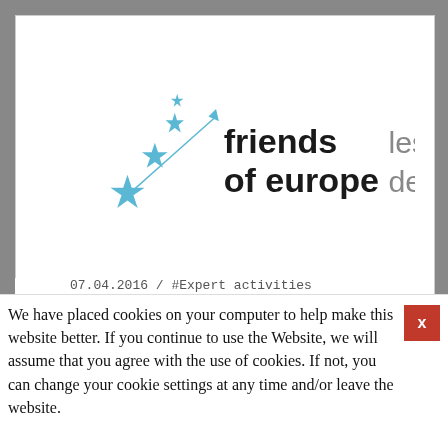[Figure (logo): Friends of Europe / Les Amis de l'Europe logo with blue stars on left and bilingual text on right]
07.04.2016 / #Expert activities
We have placed cookies on your computer to help make this website better. If you continue to use the Website, we will assume that you agree with the use of cookies. If not, you can change your cookie settings at any time and/or leave the website.
partner of Friends of Europe.